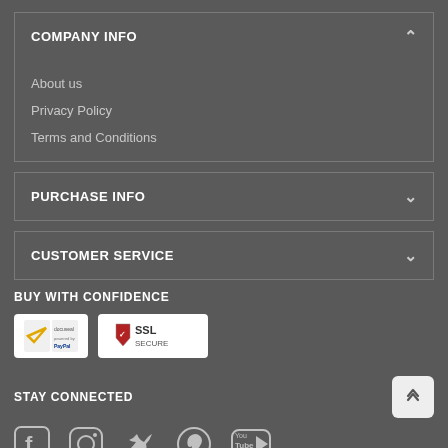COMPANY INFO
About us
Privacy Policy
Terms and Conditions
PURCHASE INFO
CUSTOMER SERVICE
BUY WITH CONFIDENCE
[Figure (logo): PayPal / Docucred verified badge logo]
[Figure (logo): SSL Secure badge with shield logo]
STAY CONNECTED
[Figure (infographic): Social media icons: Facebook, Instagram, Twitter, Pinterest, YouTube]